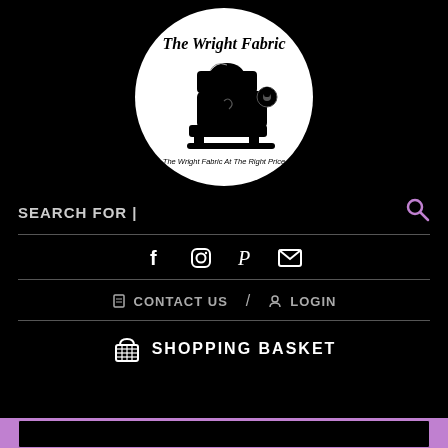[Figure (logo): The Wright Fabric logo: circular white badge with a black vintage sewing machine silhouette, script title 'The Wright Fabric' and tagline 'The Wright Fabric At The Right Price']
SEARCH FOR |
[Figure (infographic): Social media icons: Facebook, Instagram, Pinterest, Email]
CONTACT US / LOGIN
SHOPPING BASKET